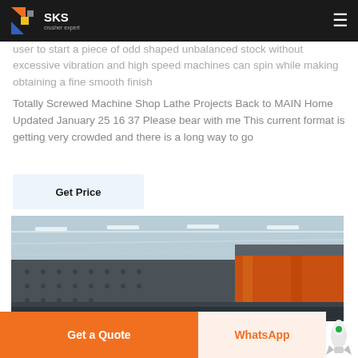SKS Crusher Expert
user to start a piece of odd shaped unbalanced stock without excessive vibration and high speed machines can spin while making obtaining a fine smooth finish
Totally Screwed Machine Shop Lathe Projects Back to MAIN Home Updated January 25 16 37 Please bear with me This current format is getting very crowded and there is a long way to go
Get Price
[Figure (photo): Industrial machinery inside a factory/warehouse — large metal screening or crushing equipment with bolted panels, orange structural supports, overhead lighting, and a steel-frame roof.]
Get a Quote
WhatsApp